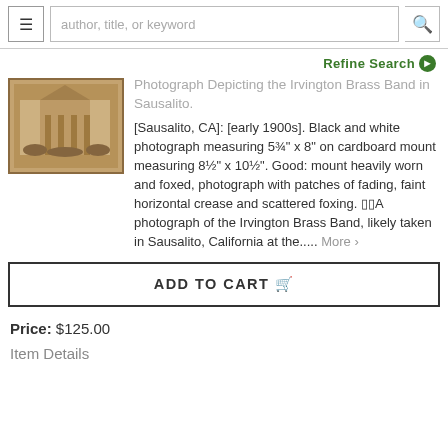author, title, or keyword
Refine Search
[Figure (photo): Sepia-toned photograph of the Irvington Brass Band in Sausalito, mounted on brown cardboard]
Photograph Depicting the Irvington Brass Band in Sausalito.
[Sausalito, CA]: [early 1900s]. Black and white photograph measuring 5¾" x 8" on cardboard mount measuring 8½" x 10½". Good: mount heavily worn and foxed, photograph with patches of fading, faint horizontal crease and scattered foxing. A photograph of the Irvington Brass Band, likely taken in Sausalito, California at the..... More >
ADD TO CART
Price: $125.00
Item Details